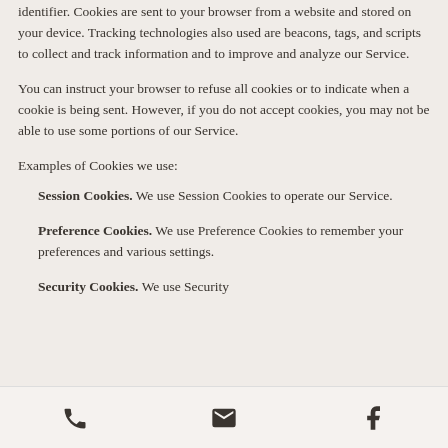identifier. Cookies are sent to your browser from a website and stored on your device. Tracking technologies also used are beacons, tags, and scripts to collect and track information and to improve and analyze our Service.
You can instruct your browser to refuse all cookies or to indicate when a cookie is being sent. However, if you do not accept cookies, you may not be able to use some portions of our Service.
Examples of Cookies we use:
Session Cookies. We use Session Cookies to operate our Service.
Preference Cookies. We use Preference Cookies to remember your preferences and various settings.
Security Cookies. We use Security
[phone icon] [email icon] [facebook icon]